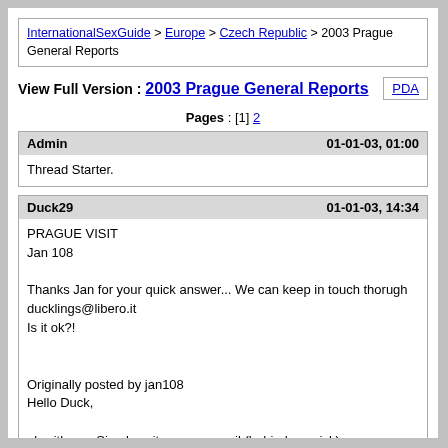InternationalSexGuide > Europe > Czech Republic > 2003 Prague General Reports
View Full Version : 2003 Prague General Reports
Pages : [1] 2
Admin    01-01-03, 01:00
Thread Starter.
Duck29    01-01-03, 14:34
PRAGUE VISIT
Jan 108

Thanks Jan for your quick answer... We can keep in touch thorugh ducklings@libero.it
Is it ok?!


Originally posted by jan108
Hello Duck,

ok with me. Simply write me an email (behind my nick)
No need to bother all who read this group.

BBWlover (jan108ATiname.com)
Jan108    01-01-03, 21:07
Hi wra123, paddy and all